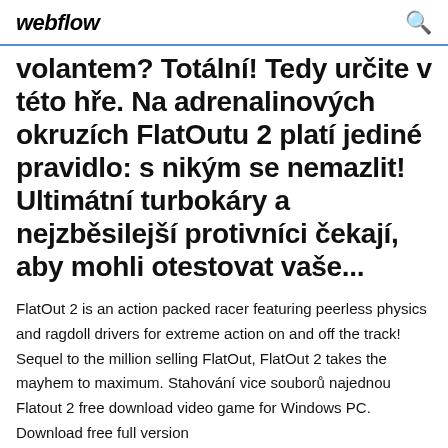webflow
volantem? Totální! Tedy určite v této hře. Na adrenalinovych okruzích FlatOutu 2 platí jediné pravidlo: s nikým se nemazlit! Ultimátní turbokáry a nejzběsilejší protivníci čekají, aby mohli otestovat vaše...
FlatOut 2 is an action packed racer featuring peerless physics and ragdoll drivers for extreme action on and off the track! Sequel to the million selling FlatOut, FlatOut 2 takes the mayhem to maximum. Stahování vice souborů najednou Flatout 2 free download video game for Windows PC. Download free full version...